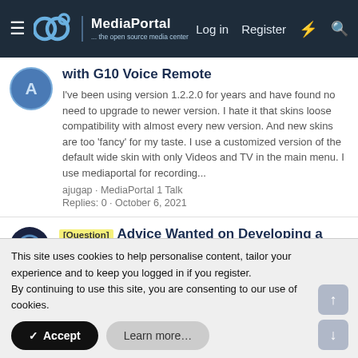MediaPortal — the open source media center | Log in | Register
with G10 Voice Remote
I've been using version 1.2.2.0 for years and have found no need to upgrade to newer version. I hate it that skins loose compatibility with almost every new version. And new skins are too 'fancy' for my taste. I use a customized version of the default wide skin with only Videos and TV in the main menu. I use mediaportal for recording...
ajugap · MediaPortal 1 Talk
Replies: 0 · October 6, 2021
[Question] Advice Wanted on Developing a Client Application for a Disabled Family Member
I think MPExtended need rework for support this - andrewjswan/MPExtended Maybe better direct select to TV SQL DB? Or look how MPExtended get this info ...
This site uses cookies to help personalise content, tailor your experience and to keep you logged in if you register.
By continuing to use this site, you are consenting to our use of cookies.